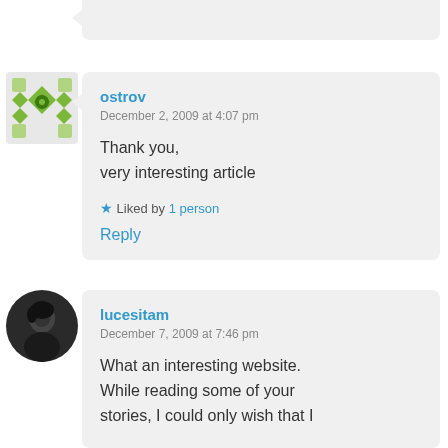[Figure (other): Partial top comment bubble (cropped at top)]
ostrov
December 2, 2009 at 4:07 pm

Thank you,
very interesting article

★ Liked by 1 person

Reply
[Figure (photo): User avatar for lucesitam - dark circular photo of a person]
lucesitam
December 7, 2009 at 7:46 pm

What an interesting website. While reading some of your stories, I could only wish that I